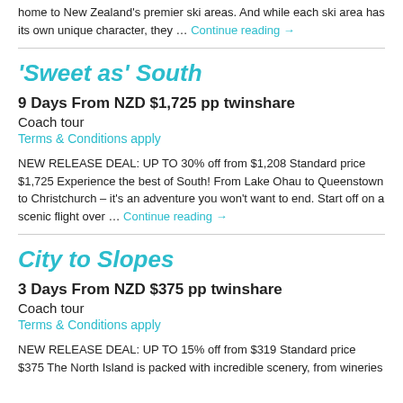home to New Zealand's premier ski areas. And while each ski area has its own unique character, they …
Continue reading →
'Sweet as' South
9 Days From NZD $1,725 pp twinshare
Coach tour
Terms & Conditions apply
NEW RELEASE DEAL: UP TO 30% off from $1,208 Standard price $1,725 Experience the best of South! From Lake Ohau to Queenstown to Christchurch – it's an adventure you won't want to end. Start off on a scenic flight over …
Continue reading →
City to Slopes
3 Days From NZD $375 pp twinshare
Coach tour
Terms & Conditions apply
NEW RELEASE DEAL: UP TO 15% off from $319 Standard price $375 The North Island is packed with incredible scenery, from wineries